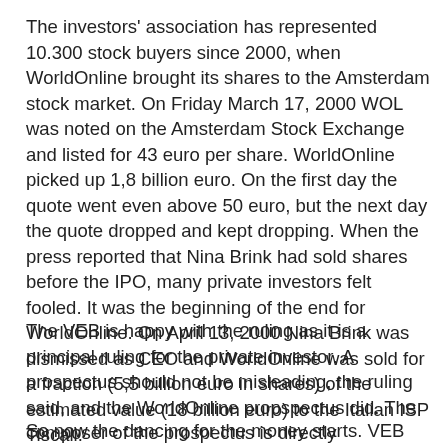The investors' association has represented 10.300 stock buyers since 2000, when WorldOnline brought its shares to the Amsterdam stock market. On Friday March 17, 2000 WOL was noted on the Amsterdam Stock Exchange and listed for 43 euro per share. WorldOnline picked up 1,8 billion euro. On the first day the quote went even above 50 euro, but the next day the quote dropped and kept dropping. When the press reported that Nina Brink had sold shares before the IPO, many private investors felt fooled. It was the beginning of the end for WorldOnline. On April 13, 2000 Nina Brink was dismissed as CEO and WorldOnline was sold for a fraction (5,5 billion euro in shares) of the estimated value (18 billion euro) to the Italian ISP Tiscali.
The VEB is happy with the ruling as it is a principal ruling for the private investor. A prospectus should not be misleading, the ruling said, and the WorldOnline propspectus did. The composer of the prospectus is directly responsible for the correctness of the texts and statements.
So now the dancing for the money starts. VEB and the stock